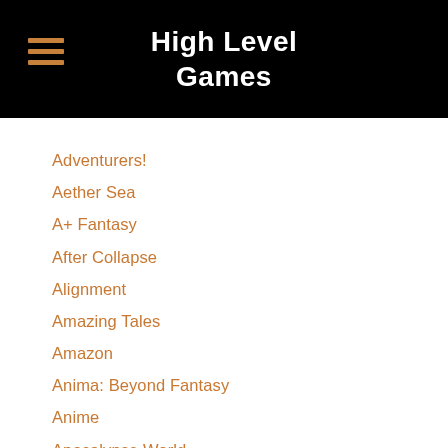High Level Games
Adventurers!
Aether Sea
A+ Fantasy
After Collapse
Alignment
Amazing Tales
Amazon
Anima: Beyond Fantasy
Anime
Apocalypse World
Atomic Robo
Australian
Award Winning
Basic Fantasy
Belly Of The Beast